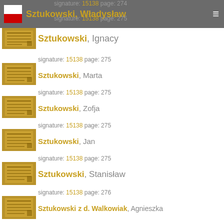signature: 15138 page: 274 — Sztukowski, Władysław — signature: 15138 page: 275
signature: 15138 page: 275 — Sztukowski, Ignacy
signature: 15138 page: 275 — Sztukowski, Marta
signature: 15138 page: 275 — Sztukowski, Zofja
signature: 15138 page: 275 — Sztukowski, Jan
signature: 15138 page: 275 — Sztukowski, Stanisław
signature: 15138 page: 276 — Sztukowski z d. Walkowiak, Agnieszka
signature: 15138 page: 276 — Sztukowski, Agnieszka
signature: 15138 page: 276 — Sztukowski, Wladislaus
signature: 15138 page: 277 — Sztukowski z d. Bocian, Helene
signature: 15138 page: 277 — Sztukowski, Hedwig